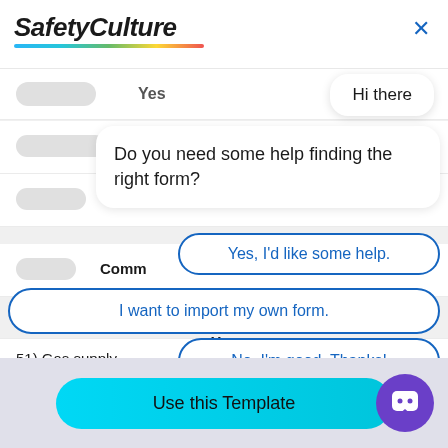[Figure (screenshot): SafetyCulture app header with logo and close button]
Yes
Hi there
Do you need some help finding the right form?
Comm
Yes, I'd like some help.
I want to import my own form.
51) Gas supply
No, I'm good. Thanks!
Yes
Use this Template